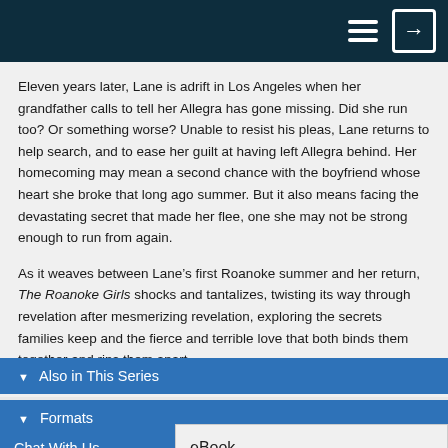Eleven years later, Lane is adrift in Los Angeles when her grandfather calls to tell her Allegra has gone missing. Did she run too? Or something worse? Unable to resist his pleas, Lane returns to help search, and to ease her guilt at having left Allegra behind. Her homecoming may mean a second chance with the boyfriend whose heart she broke that long ago summer. But it also means facing the devastating secret that made her flee, one she may not be strong enough to run from again.
As it weaves between Lane’s first Roanoke summer and her return, The Roanoke Girls shocks and tantalizes, twisting its way through revelation after mesmerizing revelation, exploring the secrets families keep and the fierce and terrible love that both binds them together and rips them apart.
▼ Also in This Series
▼ Formats
Chat With Us
eBook